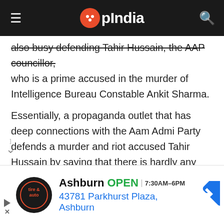OpIndia
also busy defending Tahir Hussain, the AAP councillor, who is a prime accused in the murder of Intelligence Bureau Constable Ankit Sharma.
Essentially, a propaganda outlet that has deep connections with the Aam Admi Party defends a murder and riot accused Tahir Hussain by saying that there is hardly any evidence against, when there is plenty, simply because he is an AAP leader and in the same breath, downplays attacks against Hindus and Hindu Temples by Islamists because to defend
[Figure (screenshot): Advertisement banner for Virginia Tire & Auto in Ashburn showing OPEN 7:30AM-6PM and address 43781 Parkhurst Plaza, Ashburn]